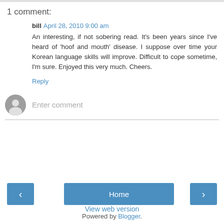1 comment:
bill  April 28, 2010 9:00 am
An interesting, if not sobering read. It's been years since I've heard of 'hoof and mouth' disease. I suppose over time your Korean language skills will improve. Difficult to cope sometime, I'm sure. Enjoyed this very much. Cheers.
Reply
Enter comment
Home
View web version
Powered by Blogger.